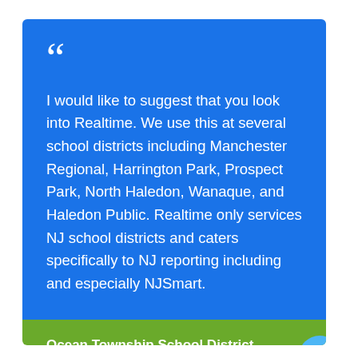I would like to suggest that you look into Realtime. We use this at several school districts including Manchester Regional, Harrington Park, Prospect Park, North Haledon, Wanaque, and Haledon Public. Realtime only services NJ school districts and caters specifically to NJ reporting including and especially NJSmart.
Ocean Township School District
Carol Widmer